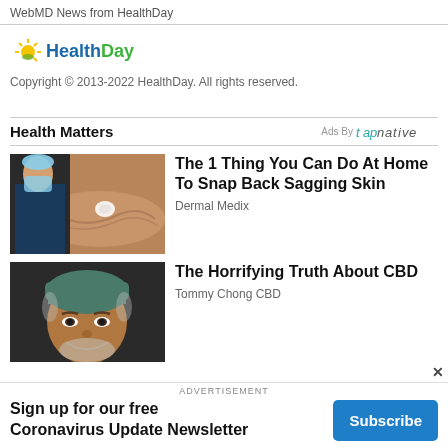WebMD News from HealthDay
[Figure (logo): HealthDay logo with sun graphic]
Copyright © 2013-2022 HealthDay. All rights reserved.
Health Matters
Ads By tapnative
[Figure (photo): Medical professional in scrubs and mask examining an arm with sagging skin]
The 1 Thing You Can Do At Home To Snap Back Sagging Skin
Dermal Medix
[Figure (photo): Older man with grey beard and green surgical cap looking concerned]
The Horrifying Truth About CBD
Tommy Chong CBD
ADVERTISEMENT
Sign up for our free Coronavirus Update Newsletter